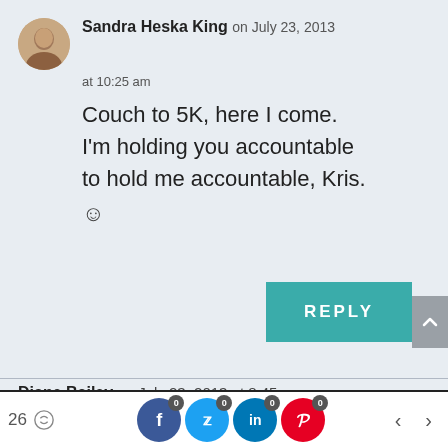Sandra Heska King on July 23, 2013 at 10:25 am
Couch to 5K, here I come. I'm holding you accountable to hold me accountable, Kris. :-)
REPLY
Diane Bailey on July 23, 2013 at 8:45 am
I have thought about being
26